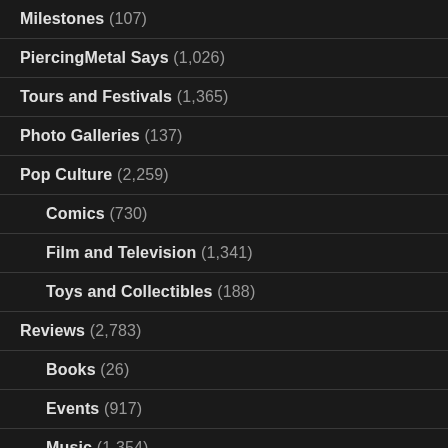Milestones (107)
PiercingMetal Says (1,026)
Tours and Festivals (1,365)
Photo Galleries (137)
Pop Culture (2,259)
Comics (730)
Film and Television (1,341)
Toys and Collectibles (188)
Reviews (2,783)
Books (26)
Events (917)
Music (1,354)